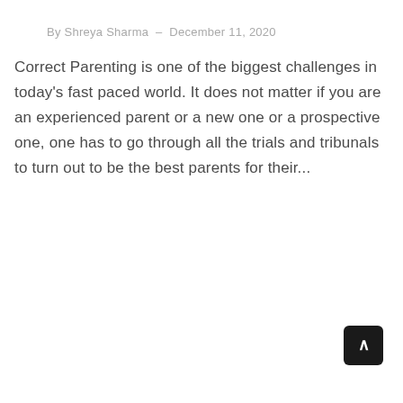By Shreya Sharma  –  December 11, 2020
Correct Parenting is one of the biggest challenges in today's fast paced world. It does not matter if you are an experienced parent or a new one or a prospective one, one has to go through all the trials and tribunals to turn out to be the best parents for their...